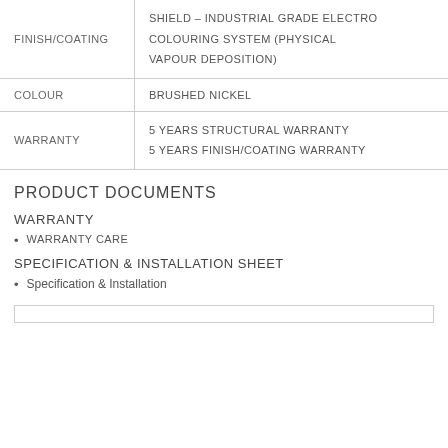|  |  |
| --- | --- |
| FINISH/COATING | SHIELD – INDUSTRIAL GRADE ELECTRO COLOURING SYSTEM (PHYSICAL VAPOUR DEPOSITION) |
| COLOUR | BRUSHED NICKEL |
| WARRANTY | 5 YEARS STRUCTURAL WARRANTY
5 YEARS FINISH/COATING WARRANTY |
PRODUCT DOCUMENTS
WARRANTY
WARRANTY CARE
SPECIFICATION & INSTALLATION SHEET
Specification & Installation